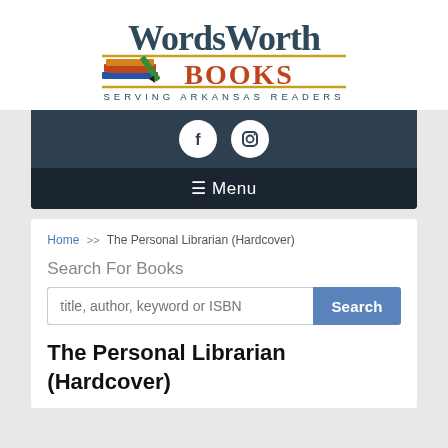[Figure (logo): WordsWorth Books logo with stacked books illustration and text 'SERVING ARKANSAS READERS']
[Figure (infographic): Navigation bar with Facebook and Instagram social icons and hamburger menu labeled 'Menu']
Home >> The Personal Librarian (Hardcover)
Search For Books
title, author, keyword or ISBN [Search]
The Personal Librarian (Hardcover)